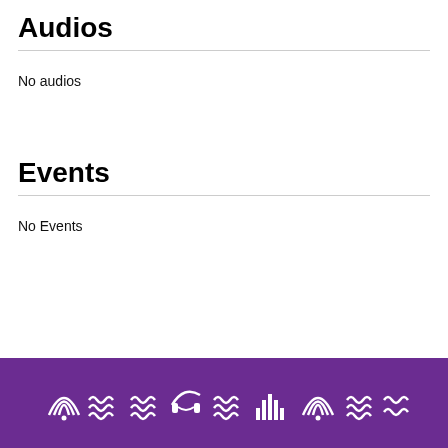Audios
No audios
Events
No Events
Purple footer bar with icons